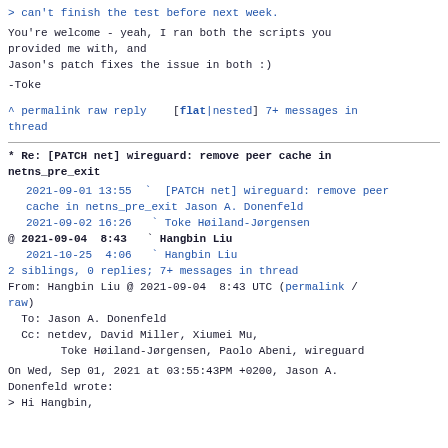> can't finish the test before next week.
You're welcome - yeah, I ran both the scripts you provided me with, and
Jason's patch fixes the issue in both :)
-Toke
^ permalink raw reply    [flat|nested] 7+ messages in thread
* Re: [PATCH net] wireguard: remove peer cache in netns_pre_exit
2021-09-01 13:55  ` [PATCH net] wireguard: remove peer cache in netns_pre_exit Jason A. Donenfeld
  2021-09-02 16:26    ` Toke Høiland-Jørgensen
@ 2021-09-04  8:43    ` Hangbin Liu
  2021-10-25  4:06    ` Hangbin Liu
  2 siblings, 0 replies; 7+ messages in thread
From: Hangbin Liu @ 2021-09-04  8:43 UTC (permalink / raw)
  To: Jason A. Donenfeld
  Cc: netdev, David Miller, Xiumei Mu,
      Toke Høiland-Jørgensen, Paolo Abeni, wireguard
On Wed, Sep 01, 2021 at 03:55:43PM +0200, Jason A. Donenfeld wrote:
> Hi Hangbin,